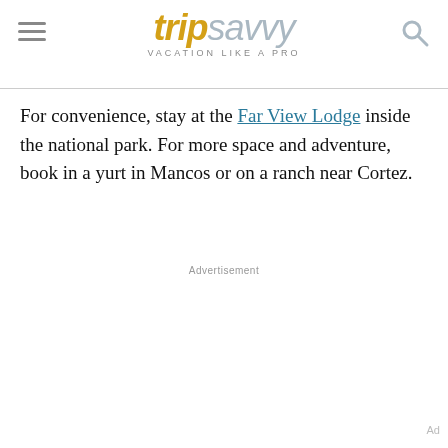tripsavvy VACATION LIKE A PRO
For convenience, stay at the Far View Lodge inside the national park. For more space and adventure, book in a yurt in Mancos or on a ranch near Cortez.
Advertisement
Ad